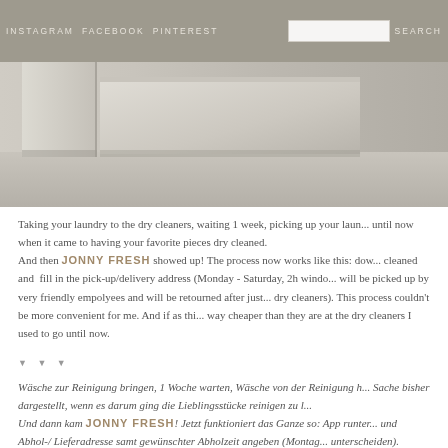INSTAGRAM  FACEBOOK  PINTEREST  SEARCH
[Figure (photo): Close-up photo of a cabinet or furniture base on a light wood floor, showing the corner/edge of white painted furniture panels]
Taking your laundry to the dry cleaners, waiting 1 week, picking up your laundry... until now when it came to having your favorite pieces dry cleaned. And then JONNY FRESH showed up! The process now works like this: download the app, select items to be cleaned and fill in the pick-up/delivery address (Monday - Saturday, 2h window). Your laundry will be picked up by very friendly empolyees and will be retourned after just 48h (unlike dry cleaners). This process couldn't be more convenient for me. And if as things weren't good enough, way cheaper than they are at the dry cleaners I used to go until now.
▼ ▼ ▼
Wäsche zur Reinigung bringen, 1 Woche warten, Wäsche von der Reinigung holen... So hatte sich die Sache bisher dargestellt, wenn es darum ging die Lieblingsstücke reinigen zu lassen. Und dann kam JONNY FRESH! Jetzt funktioniert das Ganze so: App runterladen, und Abhol-/ Lieferadresse samt gewünschter Abholzeit angeben (Montag - unterscheiden). Fertia! Die Wäsche wird von freundlichen MitarbeiterInne...